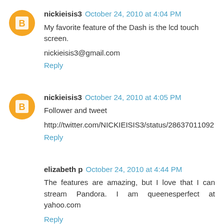nickieisis3 October 24, 2010 at 4:04 PM
My favorite feature of the Dash is the lcd touch screen.
nickieisis3@gmail.com
Reply
nickieisis3 October 24, 2010 at 4:05 PM
Follower and tweet
http://twitter.com/NICKIEISIS3/status/28637011092
Reply
elizabeth p October 24, 2010 at 4:44 PM
The features are amazing, but I love that I can stream Pandora. I am queenesperfect at yahoo.com
Reply